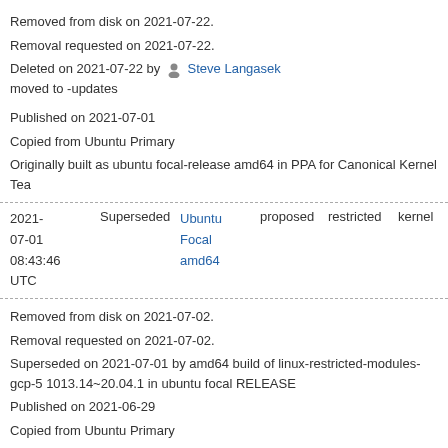Removed from disk on 2021-07-22.
Removal requested on 2021-07-22.
Deleted on 2021-07-22 by Steve Langasek moved to -updates
Published on 2021-07-01
Copied from Ubuntu Primary
Originally built as ubuntu focal-release amd64 in PPA for Canonical Kernel Tea
| Date | Status | Repository | Pocket | Component | Section | Priority |
| --- | --- | --- | --- | --- | --- | --- |
| 2021-07-01 08:43:46 UTC | Superseded | Ubuntu Focal amd64 | proposed | restricted | kernel | Optional |
Removed from disk on 2021-07-02.
Removal requested on 2021-07-02.
Superseded on 2021-07-01 by amd64 build of linux-restricted-modules-gcp-5 1013.14~20.04.1 in ubuntu focal RELEASE
Published on 2021-06-29
Copied from Ubuntu Primary
Originally built as ubuntu focal-release amd64 in PPA for Canonical Kernel Tea
| Date | Status | Repository | Pocket | Component | Section | Priority |
| --- | --- | --- | --- | --- | --- | --- |
| 2021-07-20 17:30:17 | Superseded | Ubuntu Focal amd64 | updates | restricted | kernel | Optional |